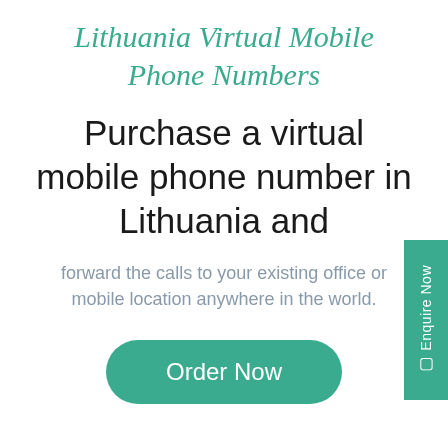Lithuania Virtual Mobile Phone Numbers
Purchase a virtual mobile phone number in Lithuania and
forward the calls to your existing office or mobile location anywhere in the world.
Order Now